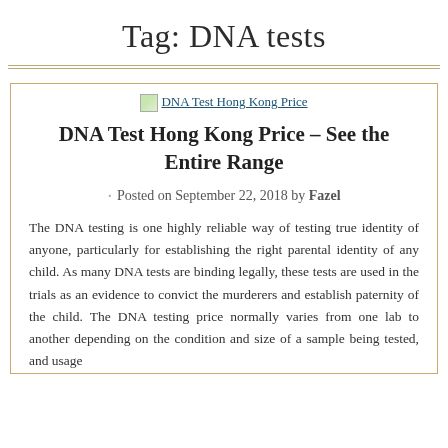Tag: DNA tests
DNA Test Hong Kong Price – See the Entire Range
Posted on September 22, 2018 by Fazel
The DNA testing is one highly reliable way of testing true identity of anyone, particularly for establishing the right parental identity of any child. As many DNA tests are binding legally, these tests are used in the trials as an evidence to convict the murderers and establish paternity of the child. The DNA testing price normally varies from one lab to another depending on the condition and size of a sample being tested, and usage